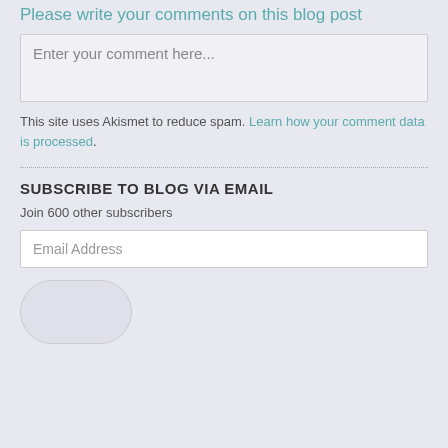Please write your comments on this blog post
Enter your comment here...
This site uses Akismet to reduce spam. Learn how your comment data is processed.
SUBSCRIBE TO BLOG VIA EMAIL
Join 600 other subscribers
Email Address